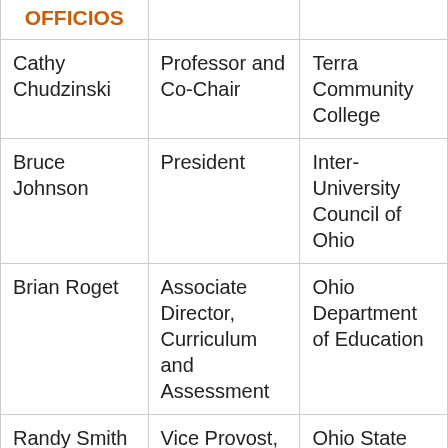| OFFICIOS |  |  |
| --- | --- | --- |
| Cathy Chudzinski | Professor and Co-Chair | Terra Community College |
| Bruce Johnson | President | Inter-University Council of Ohio |
| Brian Roget | Associate Director, Curriculum and Assessment | Ohio Department of Education |
| Randy Smith | Vice Provost, Academic Programs and Co- | Ohio State University |